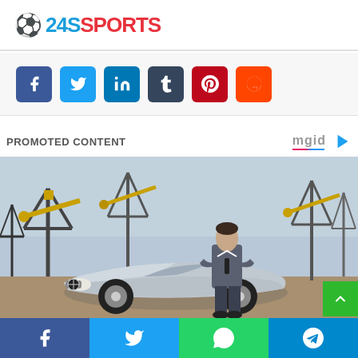24SSPORTS
[Figure (infographic): Social share buttons: Facebook, Twitter, LinkedIn, Tumblr, Pinterest, Reddit]
PROMOTED CONTENT
[Figure (logo): mgid logo with play button]
[Figure (photo): Man in grey suit leaning on silver BMW Z8 convertible in front of oil pump jacks]
[Figure (infographic): Bottom share bar: Facebook, Twitter, WhatsApp, Telegram]